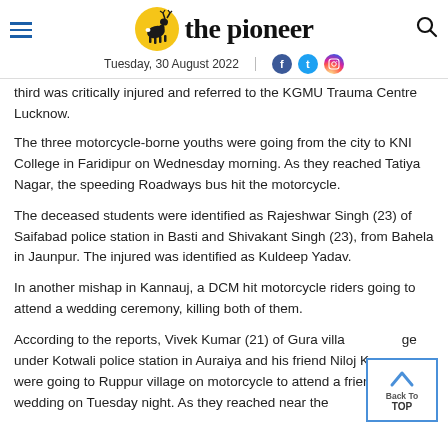the pioneer — Tuesday, 30 August 2022
third was critically injured and referred to the KGMU Trauma Centre Lucknow.
The three motorcycle-borne youths were going from the city to KNI College in Faridipur on Wednesday morning. As they reached Tatiya Nagar, the speeding Roadways bus hit the motorcycle.
The deceased students were identified as Rajeshwar Singh (23) of Saifabad police station in Basti and Shivakant Singh (23), from Bahela in Jaunpur. The injured was identified as Kuldeep Yadav.
In another mishap in Kannauj, a DCM hit motorcycle riders going to attend a wedding ceremony, killing both of them.
According to the reports, Vivek Kumar (21) of Gura village under Kotwali police station in Auraiya and his friend Niloj Ku... were going to Ruppur village on motorcycle to attend a friend's wedding on Tuesday night. As they reached near the